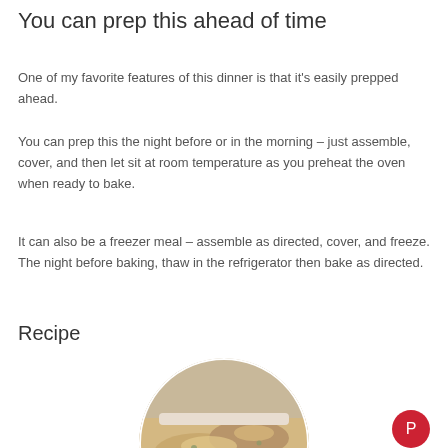You can prep this ahead of time
One of my favorite features of this dinner is that it's easily prepped ahead.
You can prep this the night before or in the morning – just assemble, cover, and then let sit at room temperature as you preheat the oven when ready to bake.
It can also be a freezer meal – assemble as directed, cover, and freeze. The night before baking, thaw in the refrigerator then bake as directed.
Recipe
[Figure (photo): Circular cropped photo of a baked casserole dish with food, on a striped cloth, partially visible]